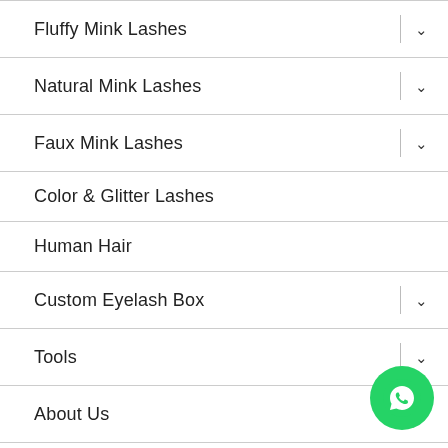Fluffy Mink Lashes
Natural Mink Lashes
Faux Mink Lashes
Color & Glitter Lashes
Human Hair
Custom Eyelash Box
Tools
About Us
Contact Us
[Figure (illustration): WhatsApp contact button (green circle with phone handset icon)]